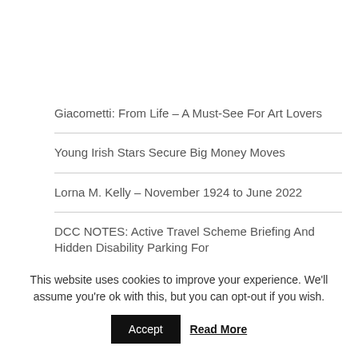Giacometti: From Life – A Must-See For Art Lovers
Young Irish Stars Secure Big Money Moves
Lorna M. Kelly – November 1924 to June 2022
DCC NOTES: Active Travel Scheme Briefing And Hidden Disability Parking For
This website uses cookies to improve your experience. We'll assume you're ok with this, but you can opt-out if you wish.
Accept
Read More